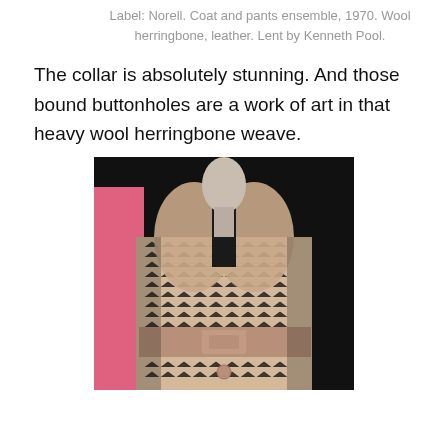Label: Norell. Coat and pants ensemble, 1970. Wool herringbone, leather. Lent by Kenneth Pool.
The collar is absolutely stunning. And those bound buttonholes are a work of art in that heavy wool herringbone weave.
[Figure (photo): Mannequin wearing a Norell coat and pants ensemble from 1970 in wool herringbone fabric with a leather belt. A pink garment is visible in the background on the left.]